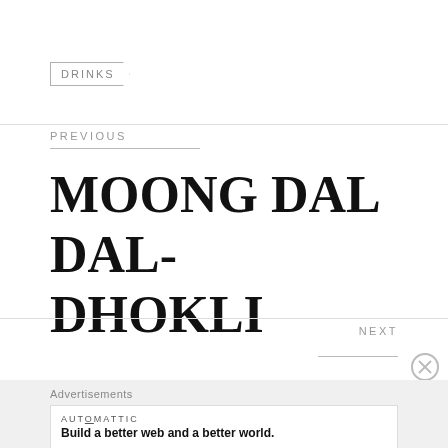DRINKS
PREVIOUS
MOONG DAL DAL-DHOKLI
NEXT
Advertisements
AUTOMATTIC
Build a better web and a better world.